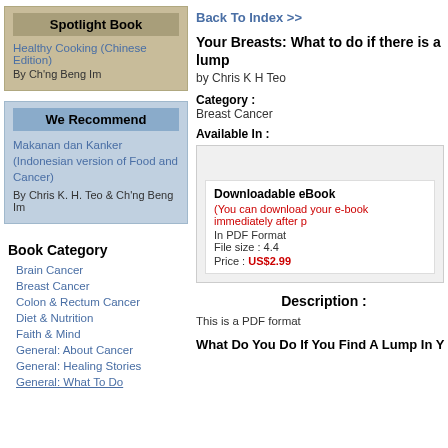Spotlight Book
Healthy Cooking (Chinese Edition)
By Ch'ng Beng Im
We Recommend
Makanan dan Kanker (Indonesian version of Food and Cancer)
By Chris K. H. Teo & Ch'ng Beng Im
Book Category
Brain Cancer
Breast Cancer
Colon & Rectum Cancer
Diet & Nutrition
Faith & Mind
General: About Cancer
General: Healing Stories
General: What To Do
Back To Index >>
Your Breasts: What to do if there is a lump
by Chris K H Teo
Category : Breast Cancer
Available In :
Downloadable eBook
(You can download your e-book immediately after p
In PDF Format
File size : 4.4
Price : US$2.99
Description :
This is a PDF format
What Do You Do If You Find A Lump In Y